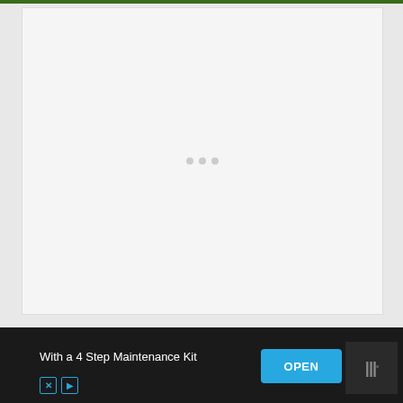[Figure (other): Loading placeholder area — large light gray rectangle with three small gray dots in the center indicating a loading spinner state]
With a 4 Step Maintenance Kit
OPEN
[Figure (logo): App logo icon showing stylized 'w' letters in dark background with a superscript degree symbol]